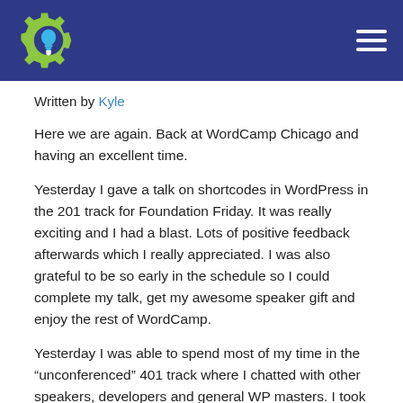Header with logo and navigation menu
Written by Kyle
Here we are again. Back at WordCamp Chicago and having an excellent time.
Yesterday I gave a talk on shortcodes in WordPress in the 201 track for Foundation Friday. It was really exciting and I had a blast. Lots of positive feedback afterwards which I really appreciated. I was also grateful to be so early in the schedule so I could complete my talk, get my awesome speaker gift and enjoy the rest of WordCamp.
Yesterday I was able to spend most of my time in the “unconferenced” 401 track where I chatted with other speakers, developers and general WP masters. I took a way lots of learning, inspiration and also positive feedback. Especially helpful was the encouragement I